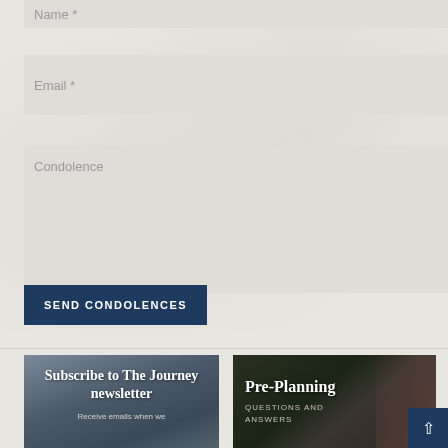Name *
Email *
Condolence
SEND CONDOLENCES
[Figure (photo): Funeral home website banner image with cross silhouette, bluish-grey tones, with title 'Subscribe to The Journey newsletter' and subtitle text 'Receive emails when we']
[Figure (photo): Dark photo with pink roses on stone surface, overlay text reading 'Pre-Planning Questions and Answers']